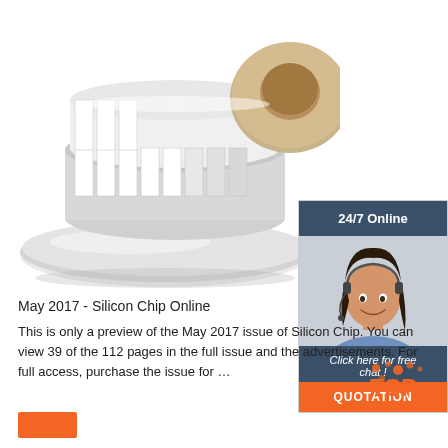[Figure (photo): A roll of white adhesive labels on a white oval plastic holder/dispenser, product photograph on white background]
[Figure (infographic): 24/7 Online chat widget with dark teal header showing '24/7 Online', a photo of a smiling brunette woman with headset, dark teal footer with italic text 'Click here for free chat !', and an orange button labeled 'QUOTATION']
May 2017 - Silicon Chip Online
This is only a preview of the May 2017 issue of Silicon Chip. You can view 39 of the 112 pages in the full issue and the advertisements. For full access, purchase the issue for …
[Figure (logo): Orange 'TOP' logo with decorative dots overlay in bottom right area]